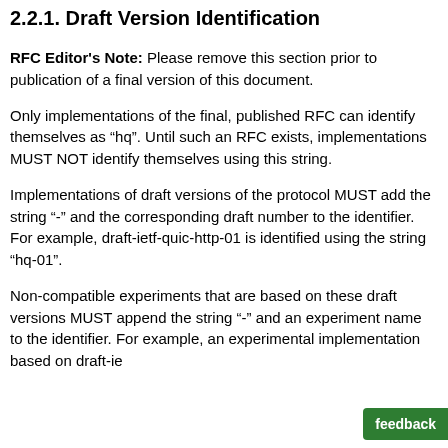2.2.1. Draft Version Identification
RFC Editor's Note: Please remove this section prior to publication of a final version of this document.
Only implementations of the final, published RFC can identify themselves as “hq”. Until such an RFC exists, implementations MUST NOT identify themselves using this string.
Implementations of draft versions of the protocol MUST add the string “-” and the corresponding draft number to the identifier. For example, draft-ietf-quic-http-01 is identified using the string “hq-01”.
Non-compatible experiments that are based on these draft versions MUST append the string “-” and an experiment name to the identifier. For example, an experimental implementation based on draft-ie…